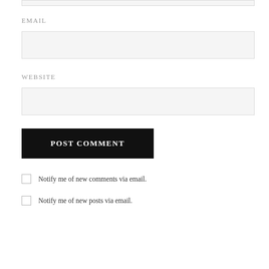[Figure (other): Top portion of a text input field (cropped at top edge)]
EMAIL
[Figure (other): Empty email input text field with light gray background and border]
WEBSITE
[Figure (other): Empty website input text field with light gray background and border]
[Figure (other): POST COMMENT button, black background, white bold uppercase text]
Notify me of new comments via email.
Notify me of new posts via email.